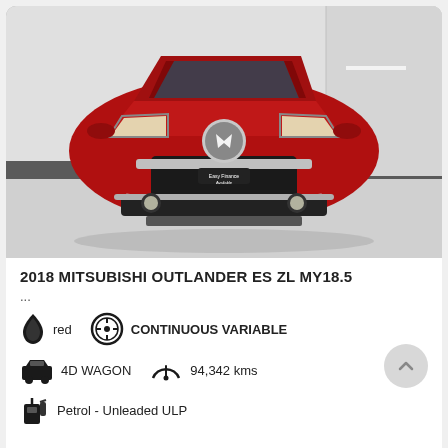[Figure (photo): Front view of a red 2018 Mitsubishi Outlander ES ZL MY18.5 SUV in a showroom with grey floor and white walls. A small 'Easy Finance Available' placard is visible on the car.]
2018 MITSUBISHI OUTLANDER ES ZL MY18.5
...
red   CONTINUOUS VARIABLE
4D WAGON   94,342 kms
Petrol - Unleaded ULP